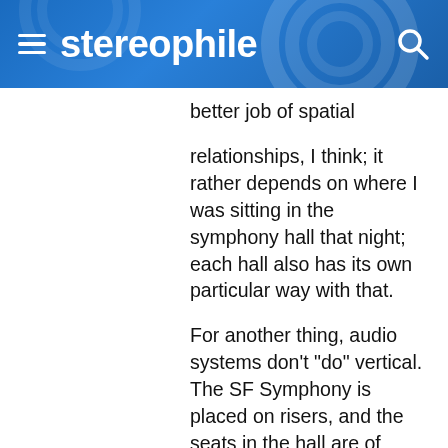stereophile
better job of spatial relationships, I think; it rather depends on where I was sitting in the symphony hall that night; each hall also has its own particular way with that.

For another thing, audio systems don't "do" vertical. The SF Symphony is placed on risers, and the seats in the hall are of course raked. This means that the vertical location of instruments tends to move in relation to one's